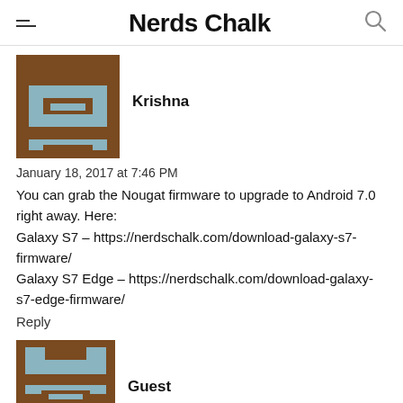Nerds Chalk
[Figure (illustration): Pixel art avatar for user Krishna — brown and steel-blue blocky design]
Krishna
January 18, 2017 at 7:46 PM
You can grab the Nougat firmware to upgrade to Android 7.0 right away. Here:
Galaxy S7 – https://nerdschalk.com/download-galaxy-s7-firmware/
Galaxy S7 Edge – https://nerdschalk.com/download-galaxy-s7-edge-firmware/
Reply
[Figure (illustration): Pixel art avatar for user Guest — brown and steel-blue blocky design]
Guest